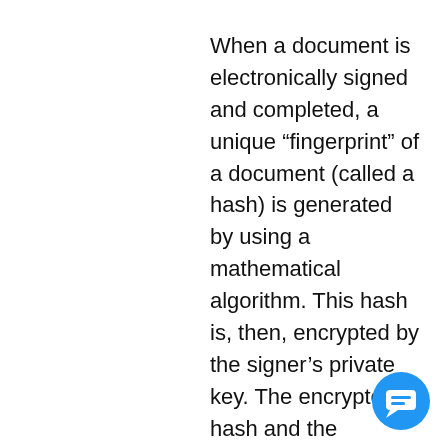When a document is electronically signed and completed, a unique “fingerprint” of a document (called a hash) is generated by using a mathematical algorithm. This hash is, then, encrypted by the signer’s private key. The encrypted hash and the document certificate issued by a trusted CA are both attached to the digitally signed document, thereby
[Figure (other): Blue circular chat bubble / support widget icon in bottom-right corner]